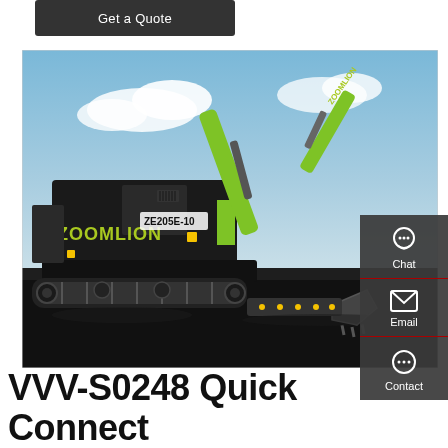Get a Quote
[Figure (photo): Zoomlion ZE205E-10 excavator on a construction site with a cloudy sky background. The machine is black and lime green with ZOOMLION branding visible on the arm and body. The model number ZE205E-10 is displayed on the side.]
Chat
Email
Contact
VVV-S0248 Quick Connect Pallet Fork Attachment For 1/14